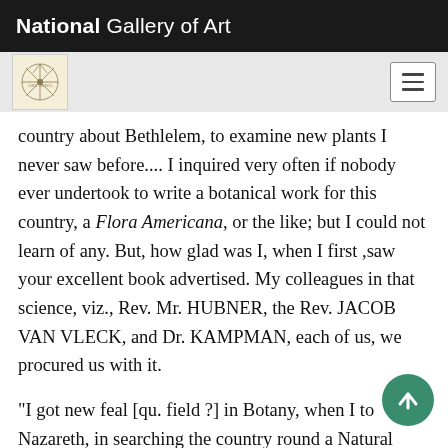National Gallery of Art
country about Bethlelem, to examine new plants I never saw before.... I inquired very often if nobody ever undertook to write a botanical work for this country, a Flora Americana, or the like; but I could not learn of any. But, how glad was I, when I first ,saw your excellent book advertised. My colleagues in that science, viz., Rev. Mr. HUBNER, the Rev. JACOB VAN VLECK, and Dr. KAMPMAN, each of us, we procured us with it.
"I got new feal [qu. field ?] in Botany, when I to Nazareth, in searching the country round a Natural History, and especially Botany, was one of